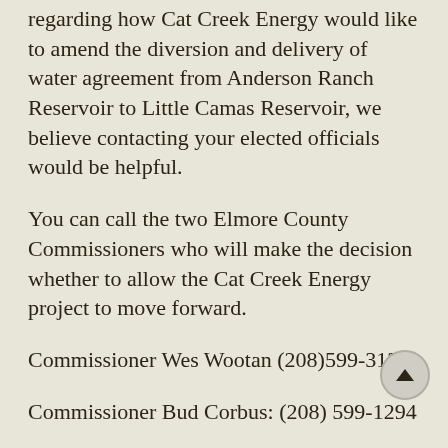regarding how Cat Creek Energy would like to amend the diversion and delivery of water agreement from Anderson Ranch Reservoir to Little Camas Reservoir, we believe contacting your elected officials would be helpful.
You can call the two Elmore County Commissioners who will make the decision whether to allow the Cat Creek Energy project to move forward.
Commissioner Wes Wootan (208)599-3131
Commissioner Bud Corbus: (208) 599-1294
FYI: Commissioner Hofer has been recused from any decision making authority on the Cat Creek Energy project.
Anyone who wishes to testify, but is unable to